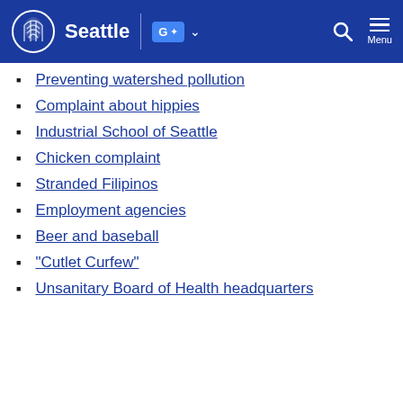Seattle
Preventing watershed pollution
Complaint about hippies
Industrial School of Seattle
Chicken complaint
Stranded Filipinos
Employment agencies
Beer and baseball
"Cutlet Curfew"
Unsanitary Board of Health headquarters